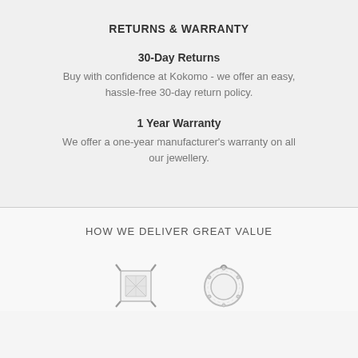RETURNS & WARRANTY
30-Day Returns
Buy with confidence at Kokomo - we offer an easy, hassle-free 30-day return policy.
1 Year Warranty
We offer a one-year manufacturer's warranty on all our jewellery.
HOW WE DELIVER GREAT VALUE
[Figure (photo): Two silver jewellery pieces shown at the bottom of the page]